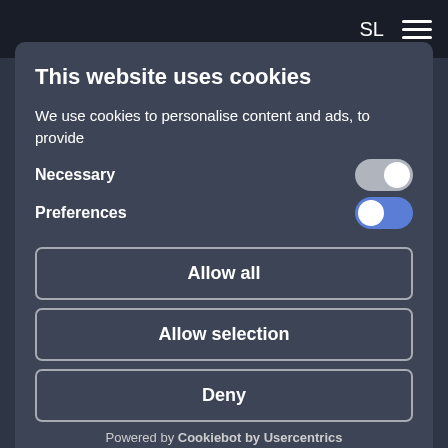This website uses cookies
We use cookies to personalise content and ads, to provide
Necessary
Preferences
Allow all
Allow selection
Deny
Powered by Cookiebot by Usercentrics